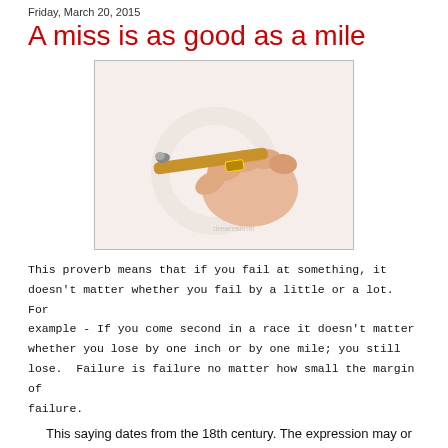Friday, March 20, 2015
A miss is as good as a mile
[Figure (photo): A hand holding a cigar between fingers against a white background, with a faint watermark.]
This proverb means that if you fail at something, it doesn't matter whether you fail by a little or a lot. For example - If you come second in a race it doesn't matter whether you lose by one inch or by one mile; you still lose.  Failure is failure no matter how small the margin of failure.
This saying dates from the 18th century. The expression may or may not be American in origin, but the root source is certainly the British Isles. James Kelly included it in A Complete Collection of Scotish Proverbs, 1721: